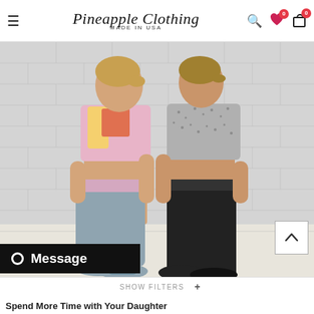Pineapple Clothing MADE IN USA
[Figure (photo): Two women wearing Pineapple Clothing athletic wear — sports bras and leggings — posing in front of a white cinder block wall. Left woman wears a colorful/abstract print sports bra with matching leggings waistband and grey capri leggings. Right woman wears a grey speckled print sports bra and black full-length leggings. Both wear sneakers.]
Message
SHOW FILTERS +
Spend More Time with Your Daughter